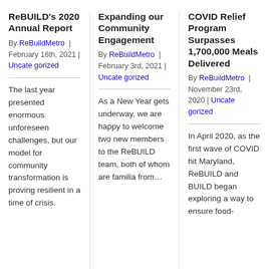ReBUILD's 2020 Annual Report
By ReBuildMetro | February 16th, 2021 | Uncategorized
The last year presented enormous unforeseen challenges, but our model for community transformation is proving resilient in a time of crisis.
Expanding our Community Engagement
By ReBuildMetro | February 3rd, 2021 | Uncategorized
As a New Year gets underway, we are happy to welcome two new members to the ReBUILD team, both of whom are familia from…
COVID Relief Program Surpasses 1,700,000 Meals Delivered
By ReBuildMetro | November 23rd, 2020 | Uncategorized
In April 2020, as the first wave of COVID hit Maryland, ReBUILD and BUILD began exploring a way to ensure food-